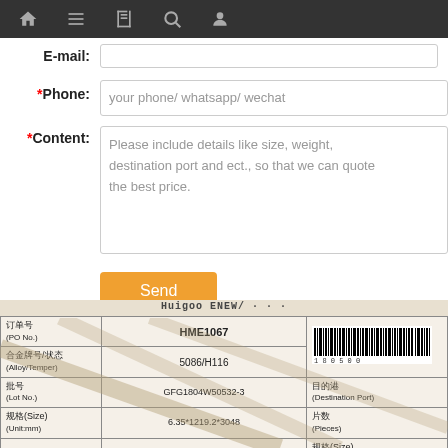Navigation bar with home, menu, document, search, and profile icons
E-mail: [input field]
*Phone: your phone/ whatsapp/ wechat
*Content: Please include details like size, weight, destination port and ect., so that we can quote the best price.
Send button
[Figure (photo): Photo of a product label/shipping tag showing Chinese and English text. Fields include: 订单号 (PO No.) HME1067, 合金牌号/状态 (Alloy/Temper) 5086/H116, 批号 (Lot No.) GFG1804W50532-3, 规格(Size) (Unit:mm) 6.35*1219.2*3048, 重重(G.W.) (Unit:kg) 1776, 目的港 (Destination Port), 片数 (Pieces), 规格(Size) (Unit:inch), 净重(N.W.) (Unit:kg). A barcode is visible in the upper right. Diagonal lines overlay the label.]